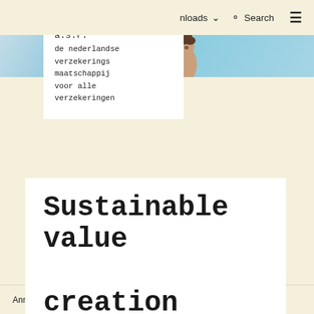nloads   Search   ≡
[Figure (photo): Hero banner with blue sky background and partial face of a woman on the right side]
a.s.r. de nederlandse verzekerings maatschappij voor alle verzekeringen
Sustainable value creation
Annual Report 2021  >  Sustainable value creation  >